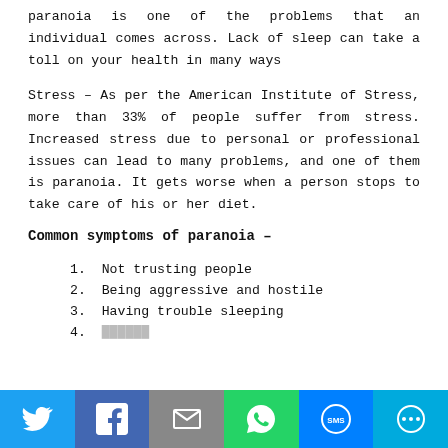paranoia is one of the problems that an individual comes across. Lack of sleep can take a toll on your health in many ways
Stress – As per the American Institute of Stress, more than 33% of people suffer from stress. Increased stress due to personal or professional issues can lead to many problems, and one of them is paranoia. It gets worse when a person stops to take care of his or her diet.
Common symptoms of paranoia –
1. Not trusting people
2. Being aggressive and hostile
3. Having trouble sleeping
4. ...